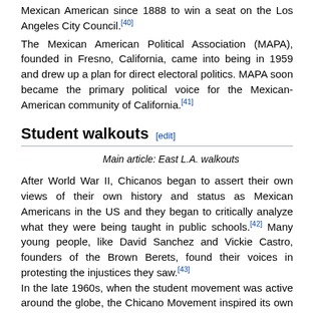Mexican American since 1888 to win a seat on the Los Angeles City Council.[40]
The Mexican American Political Association (MAPA), founded in Fresno, California, came into being in 1959 and drew up a plan for direct electoral politics. MAPA soon became the primary political voice for the Mexican-American community of California.[41]
Student walkouts [edit]
Main article: East L.A. walkouts
After World War II, Chicanos began to assert their own views of their own history and status as Mexican Americans in the US and they began to critically analyze what they were being taught in public schools.[42] Many young people, like David Sanchez and Vickie Castro, founders of the Brown Berets, found their voices in protesting the injustices they saw.[43]
In the late 1960s, when the student movement was active around the globe, the Chicano Movement inspired its own organized protests like the East L.A. walkouts in 1968, and the National Chicano Moratorium March in Los Angeles in 1970.[44] The student walkouts occurred in Denver and East Los Angeles...